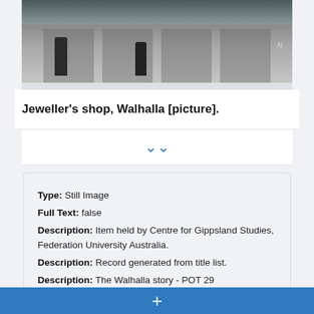[Figure (photo): Black and white photograph of a jeweller's shop storefront in Walhalla, showing two figures standing in front of a building with columns/pillars and a shop window]
Jeweller's shop, Walhalla [picture].
Type: Still Image
Full Text: false
Description: Item held by Centre for Gippsland Studies, Federation University Australia.
Description: Record generated from title list.
Description: The Walhalla story - POT 29
Description: 29-Jan-92